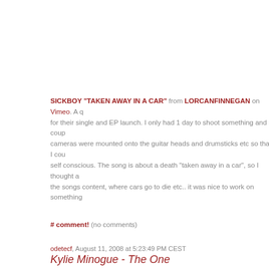SICKBOY "TAKEN AWAY IN A CAR" from LORCANFINNEGAN on Vimeo. A q for their single and EP launch. I only had 1 day to shoot something and a coup cameras were mounted onto the guitar heads and drumsticks etc so that I cou self conscious. The song is about a death "taken away in a car", so I thought a the songs content, where cars go to die etc.. it was nice to work on something
# comment! (no comments)
odetecf, August 11, 2008 at 5:23:49 PM CEST
Kylie Minogue - The One